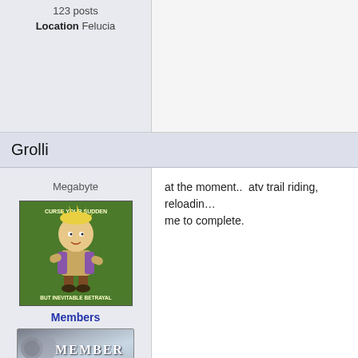123 posts
Location Felucia
Grolli
Megabyte
[Figure (illustration): Cartoon avatar of Calvin-style character on green background with text 'Curse your sudden but inevitable betrayal']
Members
[Figure (illustration): Member badge with stone/metal texture and MEMBER text]
501 posts
Location North Dakota
at the moment..  atv trail riding, reloading… me to complete.
Mister Sympa
Ascended Prophet
@Koala just noticed your new icon. It terri…